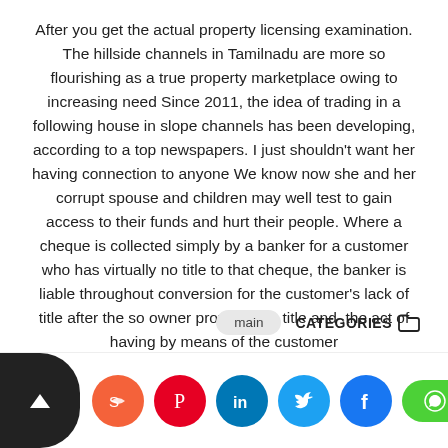After you get the actual property licensing examination. The hillside channels in Tamilnadu are more so flourishing as a true property marketplace owing to increasing need Since 2011, the idea of trading in a following house in slope channels has been developing, according to a top newspapers. I just shouldn't want her having connection to anyone We know now she and her corrupt spouse and children may well test to gain access to their funds and hurt their people. Where a cheque is collected simply by a banker for a customer who has virtually no title to that cheque, the banker is liable throughout conversion for the customer's lack of title after the so owner provides his title and .the act of having by means of the customer
main   CATEGORIES
[Figure (infographic): Social sharing bar with scroll-up button, social media icons (Stumbleupon, Pinterest, LinkedIn, Twitter, Facebook), and a WhatsApp chat button with Persian text گفتگو]